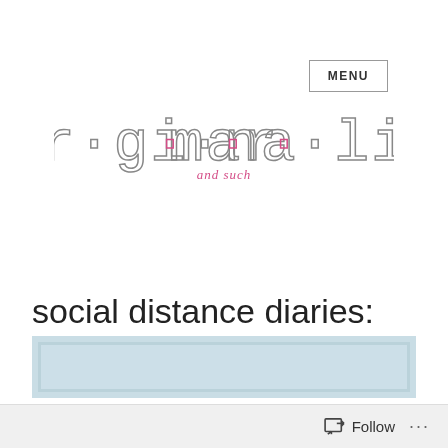MENU
[Figure (logo): marginalia and such blog logo — stylized outlined lettering with dots between syllables, subtitle 'and such' in pink]
social distance diaries: days 197-203
[Figure (photo): Partial image preview with light blue/grey background, cropped at bottom of page]
Follow ...